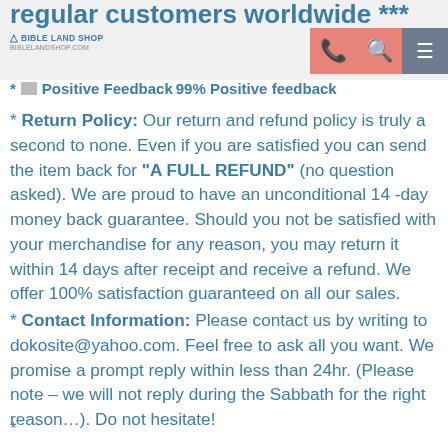regular customers worldwide ***
[Figure (logo): Bible Land Shop logo with phone icon, search icon, and menu icon navigation bar]
* Positive Feedback 99% Positive feedback
* Return Policy: Our return and refund policy is truly a second to none. Even if you are satisfied you can send the item back for "A FULL REFUND" (no question asked). We are proud to have an unconditional 14 -day money back guarantee. Should you not be satisfied with your merchandise for any reason, you may return it within 14 days after receipt and receive a refund. We offer 100% satisfaction guaranteed on all our sales.
* Contact Information: Please contact us by writing to dokosite@yahoo.com. Feel free to ask all you want. We promise a prompt reply within less than 24hr. (Please note – we will not reply during the Sabbath for the right reason...). Do not hesitate!